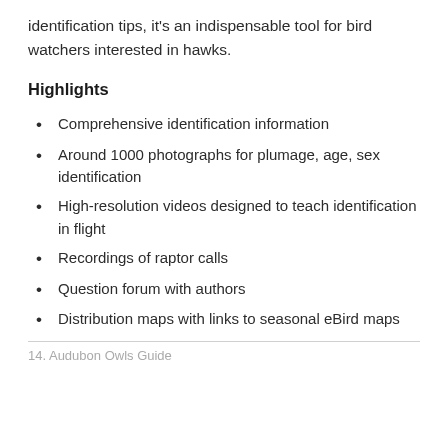identification tips, it's an indispensable tool for bird watchers interested in hawks.
Highlights
Comprehensive identification information
Around 1000 photographs for plumage, age, sex identification
High-resolution videos designed to teach identification in flight
Recordings of raptor calls
Question forum with authors
Distribution maps with links to seasonal eBird maps
14. Audubon Owls Guide